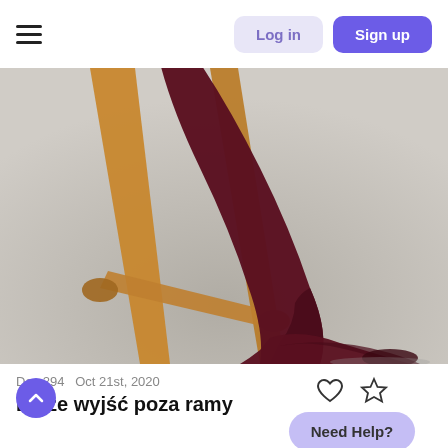Log in | Sign up
[Figure (photo): Close-up photo of a leg wearing dark burgundy/maroon knit tights and a matching sock, resting against a wooden ladder-style chair or easel, on a light grey background.]
Day 294   Oct 21st, 2020
Dać ze wyjść poza ramy